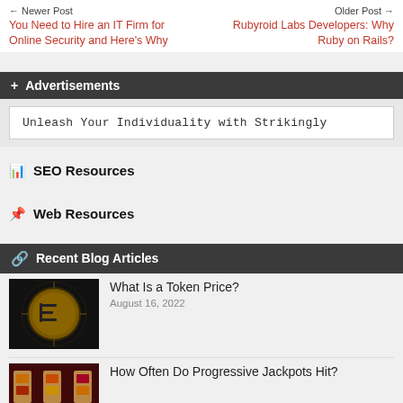← Newer Post
You Need to Hire an IT Firm for Online Security and Here's Why
Older Post →
Rubyroid Labs Developers: Why Ruby on Rails?
Advertisements
Unleash Your Individuality with Strikingly
SEO Resources
Web Resources
Recent Blog Articles
[Figure (photo): Gold coin with letter E on dark background]
What Is a Token Price?
August 16, 2022
[Figure (photo): Colorful slots machine image]
How Often Do Progressive Jackpots Hit?